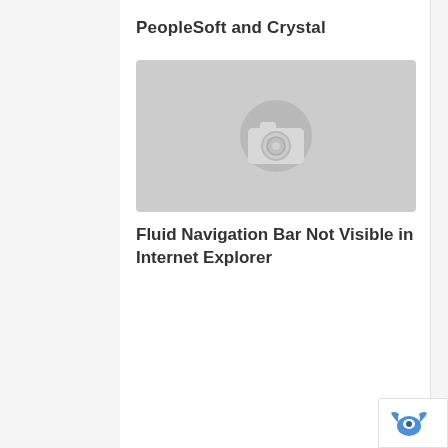PeopleSoft and Crystal
[Figure (photo): Placeholder image with camera icon on grey background]
Fluid Navigation Bar Not Visible in Internet Explorer
[Figure (logo): reCAPTCHA logo badge partially visible in bottom-right corner]